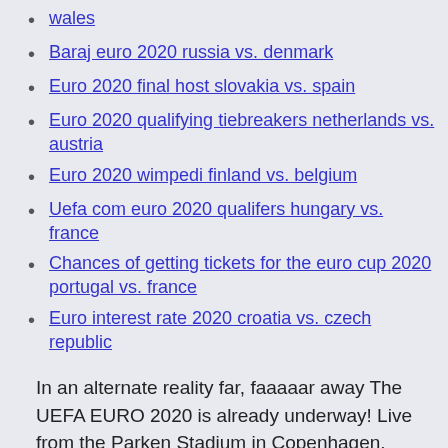wales
Baraj euro 2020 russia vs. denmark
Euro 2020 final host slovakia vs. spain
Euro 2020 qualifying tiebreakers netherlands vs. austria
Euro 2020 wimpedi finland vs. belgium
Uefa com euro 2020 qualifers hungary vs. france
Chances of getting tickets for the euro cup 2020 portugal vs. france
Euro interest rate 2020 croatia vs. czech republic
In an alternate reality far, faaaaar away The UEFA EURO 2020 is already underway! Live from the Parken Stadium in Copenhagen.